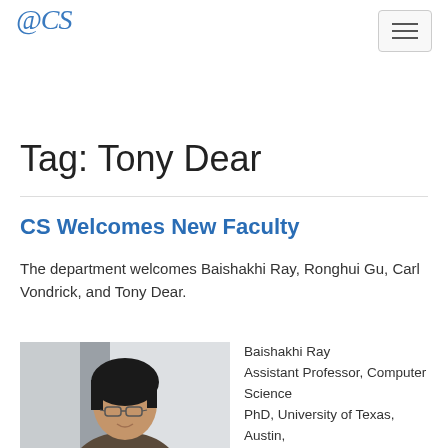@CS
Tag: Tony Dear
CS Welcomes New Faculty
The department welcomes Baishakhi Ray, Ronghui Gu, Carl Vondrick, and Tony Dear.
[Figure (photo): Headshot photo of Baishakhi Ray, a woman with glasses and dark hair, wearing professional attire, with a light office background.]
Baishakhi Ray
Assistant Professor, Computer Science
PhD, University of Texas, Austin,